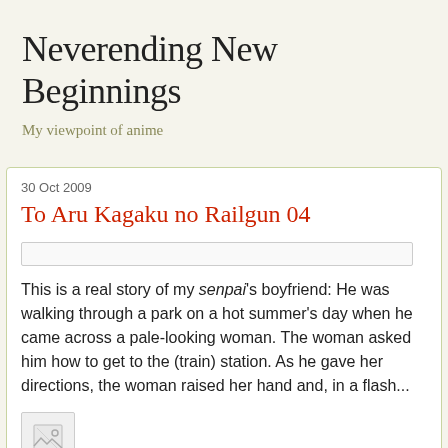Neverending New Beginnings
My viewpoint of anime
30 Oct 2009
To Aru Kagaku no Railgun 04
This is a real story of my senpai's boyfriend: He was walking through a park on a hot summer's day when he came across a pale-looking woman. The woman asked him how to get to the (train) station. As he gave her directions, the woman raised her hand and, in a flash...
[Figure (photo): Broken image placeholder icon]